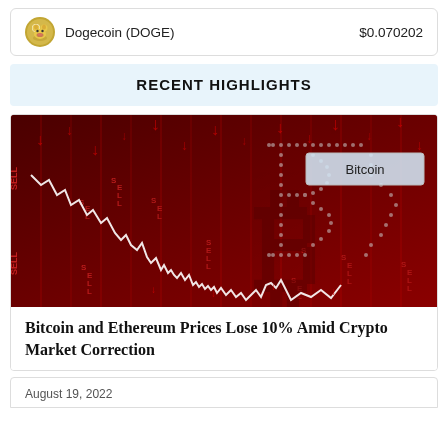| Coin | Price |
| --- | --- |
| Dogecoin (DOGE) | $0.070202 |
RECENT HIGHLIGHTS
[Figure (photo): Red crypto market crash chart image with Bitcoin logo, downward trending candlestick chart in red tones with 'Bitcoin' label overlay and SELL text scattered throughout]
Bitcoin and Ethereum Prices Lose 10% Amid Crypto Market Correction
August 19, 2022